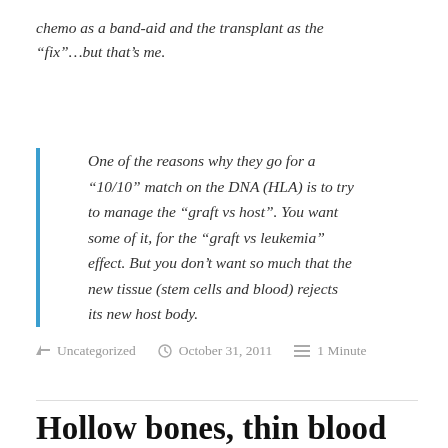chemo as a band-aid and the transplant as the “fix”…but that’s me.
One of the reasons why they go for a “10/10” match on the DNA (HLA) is to try to manage the “graft vs host”. You want some of it, for the “graft vs leukemia” effect. But you don’t want so much that the new tissue (stem cells and blood) rejects its new host body.
Uncategorized   October 31, 2011   1 Minute
Hollow bones, thin blood